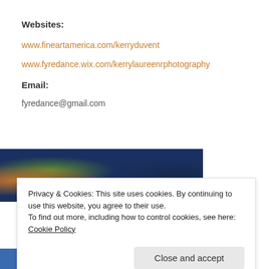Websites:
www.fineartamerica.com/kerryduvent
www.fyredance.wix.com/kerrylaureenrphotography
Email:
fyredance@gmail.com
[Figure (photo): Aerial or landscape photo showing orange foliage, green trees, and dark blue water or sky]
Privacy & Cookies: This site uses cookies. By continuing to use this website, you agree to their use.
To find out more, including how to control cookies, see here: Cookie Policy
[Figure (photo): Partial view of a second photo showing blue and orange tones, partially visible at bottom of page]